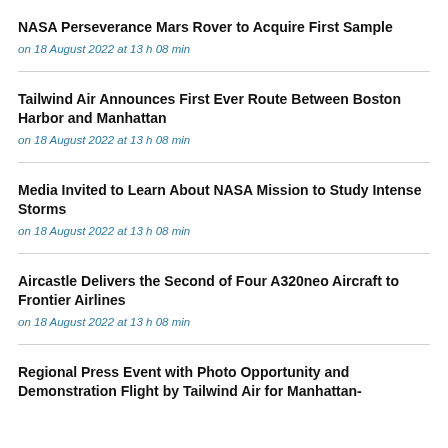NASA Perseverance Mars Rover to Acquire First Sample
on 18 August 2022 at 13 h 08 min
Tailwind Air Announces First Ever Route Between Boston Harbor and Manhattan
on 18 August 2022 at 13 h 08 min
Media Invited to Learn About NASA Mission to Study Intense Storms
on 18 August 2022 at 13 h 08 min
Aircastle Delivers the Second of Four A320neo Aircraft to Frontier Airlines
on 18 August 2022 at 13 h 08 min
Regional Press Event with Photo Opportunity and Demonstration Flight by Tailwind Air for Manhattan-